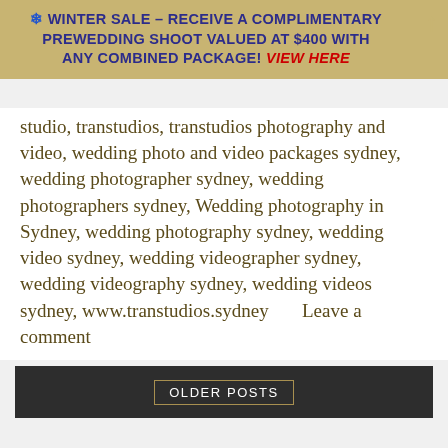❄ WINTER SALE – RECEIVE A COMPLIMENTARY PREWEDDING SHOOT VALUED AT $400 WITH ANY COMBINED PACKAGE! View Here
studio, transtudios, transtudios photography and video, wedding photo and video packages sydney, wedding photographer sydney, wedding photographers sydney, Wedding photography in Sydney, wedding photography sydney, wedding video sydney, wedding videographer sydney, wedding videography sydney, wedding videos sydney, www.transtudios.sydney       Leave a comment
OLDER POSTS